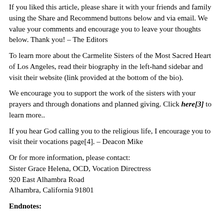If you liked this article, please share it with your friends and family using the Share and Recommend buttons below and via email. We value your comments and encourage you to leave your thoughts below. Thank you! – The Editors
To learn more about the Carmelite Sisters of the Most Sacred Heart of Los Angeles, read their biography in the left-hand sidebar and visit their website (link provided at the bottom of the bio).
We encourage you to support the work of the sisters with your prayers and through donations and planned giving. Click here[3] to learn more..
If you hear God calling you to the religious life, I encourage you to visit their vocations page[4]. – Deacon Mike
Or for more information, please contact:
Sister Grace Helena, OCD, Vocation Directress
920 East Alhambra Road
Alhambra, California 91801
Endnotes: